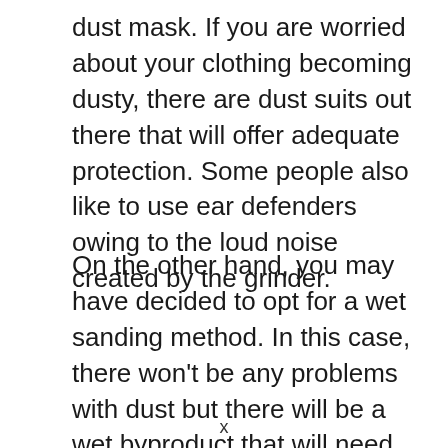dust mask. If you are worried about your clothing becoming dusty, there are dust suits out there that will offer adequate protection. Some people also like to use ear defenders owing to the loud noise created by the grinder.
On the other hand, you may have decided to opt for a wet sanding method. In this case, there won't be any problems with dust but there will be a wet byproduct that will need to be dealt with. This is a mixture of water and dust which will
x